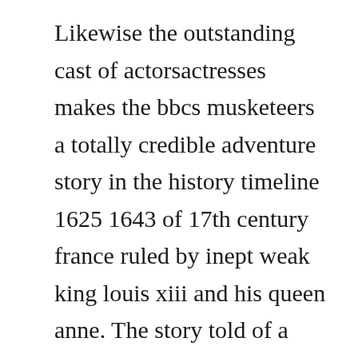Likewise the outstanding cast of actorsactresses makes the bbcs musketeers a totally credible adventure story in the history timeline 1625 1643 of 17th century france ruled by inept weak king louis xiii and his queen anne. The story told of a young man from gascony coming to paris in 1625 to join the kings musketeers, and of the adventures he had with his new friends, the titular three musketeers. Along the way he meets athos, porthos and aramis, musketeers of king louis xiii. Gary price is raising funds for iron mask miniatures dwarf musketeers on kickstarter